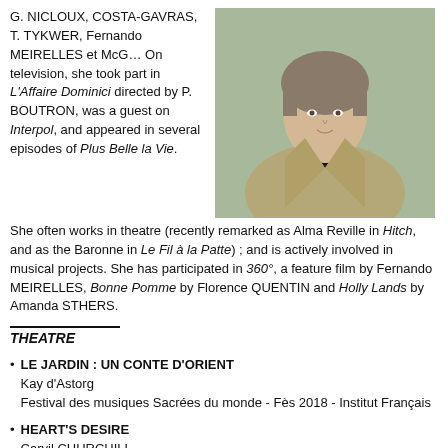G. NICLOUX, COSTA-GAVRAS, T. TYKWER, Fernando MEIRELLES et McG… On television, she took part in L'Affaire Dominici directed by P. BOUTRON, was a guest on Interpol, and appeared in several episodes of Plus Belle la Vie. She often works in theatre (recently remarked as Alma Reville in Hitch, and as the Baronne in Le Fil à la Patte) ; and is actively involved in musical projects. She has participated in 360°, a feature film by Fernando MEIRELLES, Bonne Pomme by Florence QUENTIN and Holly Lands by Amanda STHERS.
[Figure (photo): Portrait photo of a woman with short hair wearing a beige/khaki blazer over a black top, outdoors background.]
THEATRE
LE JARDIN : UN CONTE D'ORIENT
Kay d'Astorg
Festival des musiques Sacrées du monde - Fès 2018 - Institut Français
HEART'S DESIRE
Caryil CHURCHILL
Directed by Catherine COHEN
LE FIL À LA PATTE
Georges FEYDEAU
Directed by Jean-Claude FALL
HÔTEL PALESTINE